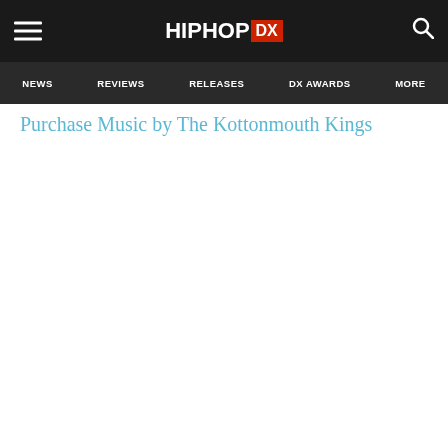HIPHOP DX — NEWS | REVIEWS | RELEASES | DX AWARDS | MORE
Purchase Music by The Kottonmouth Kings